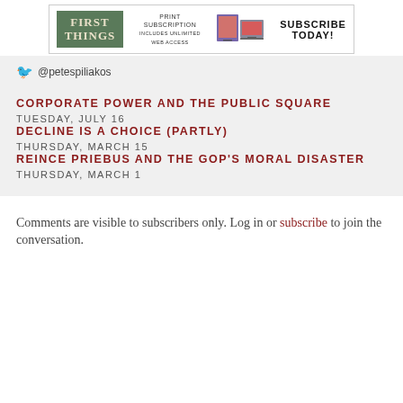[Figure (other): First Things magazine advertisement banner: green logo with FIRST THINGS text, print subscription offer with device images, SUBSCRIBE TODAY call to action]
@petespiliakos
CORPORATE POWER AND THE PUBLIC SQUARE
TUESDAY, JULY 16
DECLINE IS A CHOICE (PARTLY)
THURSDAY, MARCH 15
REINCE PRIEBUS AND THE GOP'S MORAL DISASTER
THURSDAY, MARCH 1
Comments are visible to subscribers only. Log in or subscribe to join the conversation.